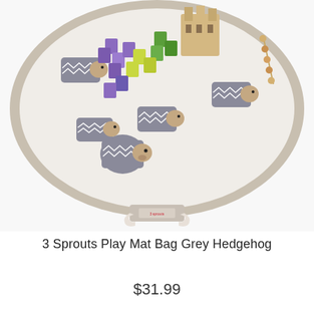[Figure (photo): A round play mat bag with grey hedgehog pattern on white fabric, with a beige/grey border and white handle with 3 Sprouts label. The mat has colorful wooden blocks and toys scattered on it including purple, green, and yellow blocks, a wooden castle, and wooden bead toy.]
3 Sprouts Play Mat Bag Grey Hedgehog
$31.99